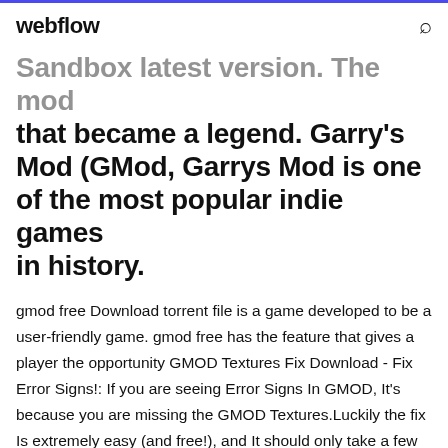webflow
Sandbox latest version. The mod that became a legend. Garry's Mod (GMod, Garrys Mod is one of the most popular indie games in history.
gmod free Download torrent file is a game developed to be a user-friendly game. gmod free has the feature that gives a player the opportunity GMOD Textures Fix Download - Fix Error Signs!: If you are seeing Error Signs In GMOD, It's because you are missing the GMOD Textures.Luckily the fix Is extremely easy (and free!), and It should only take a few minute of your time. Wondering how to fix your GMOD